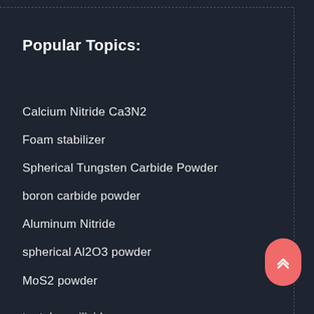Popular Topics:
Calcium Nitride Ca3N2
Foam stabilizer
Spherical Tungsten Carbide Powder
boron carbide powder
Aluminum Nitride
spherical Al2O3 powder
MoS2 powder
tantalum silicide
concrete slump